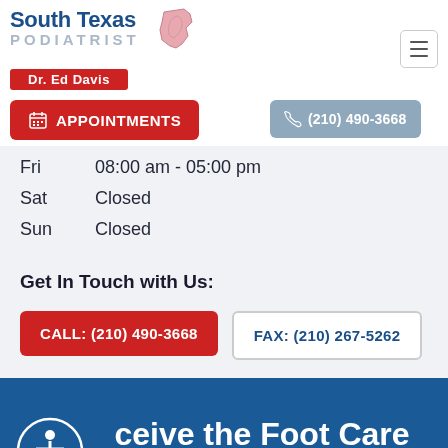[Figure (logo): South Texas Podiatrist logo with Dr. Ed Davis name bar and foot/Texas state silhouette icon]
APPOINTMENTS
(210) 490-3668
Fri    08:00 am - 05:00 pm
Sat    Closed
Sun    Closed
Get In Touch with Us:
CALL: (210) 490-3668
FAX: (210) 267-5262
ceive the Foot Care You Deserve